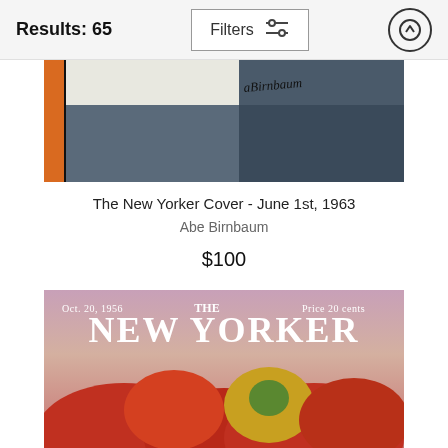Results: 65
Filters
[Figure (photo): Partial view of a New Yorker magazine cover illustration showing a window scene with bold black lines, blue background, and orange element, signed 'Birnbaum']
The New Yorker Cover - June 1st, 1963
Abe Birnbaum
$100
[Figure (photo): The New Yorker magazine cover from Oct. 20, 1956, Price 20 cents, showing autumn trees with red and orange foliage against a pink/purple sky. Large white text reads 'THE NEW YORKER'.]